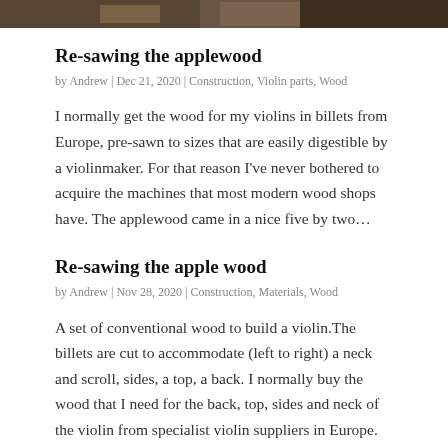[Figure (photo): Partial photo at top of page, dark tones, appears to show a person or wood working scene, cropped]
Re-sawing the applewood
by Andrew | Dec 21, 2020 | Construction, Violin parts, Wood
I normally get the wood for my violins in billets from Europe, pre-sawn to sizes that are easily digestible by a violinmaker. For that reason I've never bothered to acquire the machines that most modern wood shops have. The applewood came in a nice five by two…
Re-sawing the apple wood
by Andrew | Nov 28, 2020 | Construction, Materials, Wood
A set of conventional wood to build a violin.The billets are cut to accommodate (left to right) a neck and scroll, sides, a top, a back. I normally buy the wood that I need for the back, top, sides and neck of the violin from specialist violin suppliers in Europe. The…